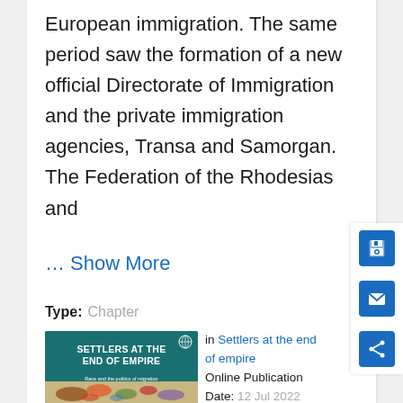European immigration. The same period saw the formation of a new official Directorate of Immigration and the private immigration agencies, Transa and Samorgan. The Federation of the Rhodesias and
... Show More
Type: Chapter
[Figure (illustration): Book cover for 'Settlers at the End of Empire: Race and the politics of migration in South Africa, Rhodesia and the United Kingdom'. Dark teal/green background with white bold title text, subtitle text, publisher logo, and a colorful world map at the bottom.]
in Settlers at the end of empire
Online Publication Date: 12 Jul 2022
ISBN: 9781526145499
Subjects: History